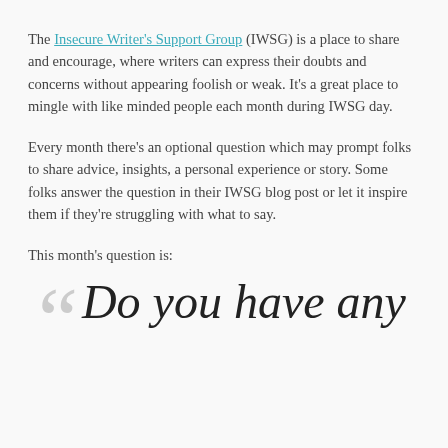The Insecure Writer's Support Group (IWSG) is a place to share and encourage, where writers can express their doubts and concerns without appearing foolish or weak. It's a great place to mingle with like minded people each month during IWSG day.
Every month there's an optional question which may prompt folks to share advice, insights, a personal experience or story. Some folks answer the question in their IWSG blog post or let it inspire them if they're struggling with what to say.
This month's question is:
“Do you have any